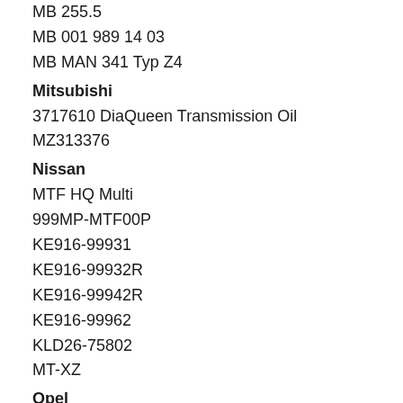MB 255.5
MB 001 989 14 03
MB MAN 341 Typ Z4
Mitsubishi
3717610 DiaQueen Transmission Oil MZ313376
Nissan
MTF HQ Multi
999MP-MTF00P
KE916-99931
KE916-99932R
KE916-99942R
KE916-99962
KLD26-75802
MT-XZ
Opel
B 040 2071
Safety and Product Data Sheets
WARNING Cancer and Reproductive Harm use of